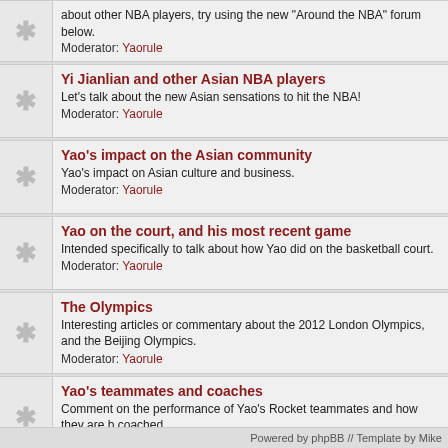about other NBA players, try using the new "Around the NBA" forum below.
Moderator: Yaorule
Yi Jianlian and other Asian NBA players
Let's talk about the new Asian sensations to hit the NBA!
Moderator: Yaorule
Yao's impact on the Asian community
Yao's impact on Asian culture and business.
Moderator: Yaorule
Yao on the court, and his most recent game
Intended specifically to talk about how Yao did on the basketball court.
Moderator: Yaorule
The Olympics
Interesting articles or commentary about the 2012 London Olympics, and the Beijing Olympics.
Moderator: Yaorule
Yao's teammates and coaches
Comment on the performance of Yao's Rocket teammates and how they are b coached.
Moderator: Yaorule
Yao and me
How your life has been impacted by Yao.
Moderator: Yaorule
Yao's rookie season 2002-03
Should he have won the NBA Rookie of the Year award? How did he do at the Game?
Moderator: Yaorule
Powered by phpBB // Template by Mike